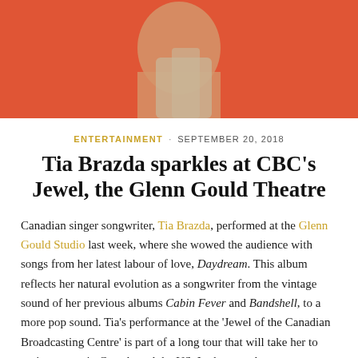[Figure (photo): Partial view of a person against a coral/red-orange background, showing shoulder and upper back]
ENTERTAINMENT · SEPTEMBER 20, 2018
Tia Brazda sparkles at CBC's Jewel, the Glenn Gould Theatre
Canadian singer songwriter, Tia Brazda, performed at the Glenn Gould Studio last week, where she wowed the audience with songs from her latest labour of love, Daydream. This album reflects her natural evolution as a songwriter from the vintage sound of her previous albums Cabin Fever and Bandshell, to a more pop sound. Tia's performance at the 'Jewel of the Canadian Broadcasting Centre' is part of a long tour that will take her to various stops in Canada and the US. In the past she